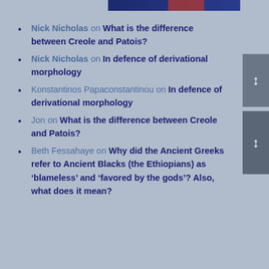Nick Nicholas on What is the difference between Creole and Patois?
Nick Nicholas on In defence of derivational morphology
Konstantinos Papaconstantinou on In defence of derivational morphology
Jon on What is the difference between Creole and Patois?
Beth Fessahaye on Why did the Ancient Greeks refer to Ancient Blacks (the Ethiopians) as ‘blameless’ and ‘favored by the gods’? Also, what does it mean?